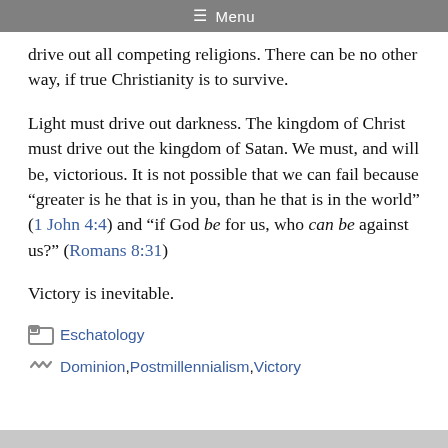☰ Menu
drive out all competing religions. There can be no other way, if true Christianity is to survive.
Light must drive out darkness. The kingdom of Christ must drive out the kingdom of Satan. We must, and will be, victorious. It is not possible that we can fail because “greater is he that is in you, than he that is in the world” (1 John 4:4) and “if God be for us, who can be against us?” (Romans 8:31)
Victory is inevitable.
Eschatology
Dominion, Postmillennialism, Victory